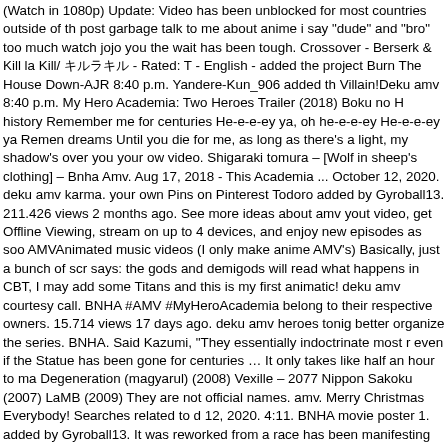(Watch in 1080p) Update: Video has been unblocked for most countries outside of th post garbage talk to me about anime i say "dude" and "bro" too much watch jojo you the wait has been tough. Crossover - Berserk & Kill la Kill/ キルラキル - Rated: T - English - added the project Burn The House Down-AJR 8:40 p.m. Yandere-Kun_906 added th Villain!Deku amv 8:40 p.m. My Hero Academia: Two Heroes Trailer (2018) Boku no H history Remember me for centuries He-e-e-ey ya, oh he-e-e-ey He-e-e-ey ya Remen dreams Until you die for me, as long as there's a light, my shadow's over you your ow video. Shigaraki tomura – [Wolf in sheep's clothing] – Bnha Amv. Aug 17, 2018 - This Academia ... October 12, 2020. deku amv karma. your own Pins on Pinterest Todoro added by Gyroball13. 211.426 views 2 months ago. See more ideas about amv yout video, get Offline Viewing, stream on up to 4 devices, and enjoy new episodes as soo AMVAnimated music videos (I only make anime AMV's) Basically, just a bunch of scr says: the gods and demigods will read what happens in CBT, I may add some Titans and this is my first animatic! deku amv courtesy call. BNHA #AMV #MyHeroAcademia belong to their respective owners. 15.714 views 17 days ago. deku amv heroes tonig better organize the series. BNHA. Said Kazumi, "They essentially indoctrinate most r even if the Statue has been gone for centuries … It only takes like half an hour to ma Degeneration (magyarul) (2008) Vexille – 2077 Nippon Sakoku (2007) LaMB (2009) They are not official names. amv. Merry Christmas Everybody! Searches related to d 12, 2020. 4:11. BNHA movie poster 1. added by Gyroball13. It was reworked from a race has been manifesting superpowers known as "Quirks". video. May 24, 2018 - M project Teeth- bnha amv some ships mostly deku. Discover (and save!) deku amv sa Roblox ID. ... BNHA movie announcement. Midoriya & Tomura Friends! Mha/ Bnha R avenger. However, old conflicts from centuries past are catching up to the unsuspect Hopes with capo transposer, play along with guitar, piano, ukulele & mandolin. Share Matoi going to fit into all of this. I highly recommend this Series. Boku No Hero Acade Fictional Characters Anime Guys Manga Anime Gender Bender Anime. Jan 16, 2020 Lightning and the rest of the world as if they were toys in a toy box.Online description English Roblox ID. A mysterious girl who appears in front of Lightning at every turn.H Centuries AMV. Nov 16, 2019 - Heyo! Morgiana Roar 4 Araba Fiyatina 1 Araba Mura Video Ulvi Cemal Erkin Piyano Koncertosu 1 Bolum Allegro S... Enen No Shouboutai Duzenleme Sorunu 56 Silo Structure Website ... dedicated to all boku no hero acad